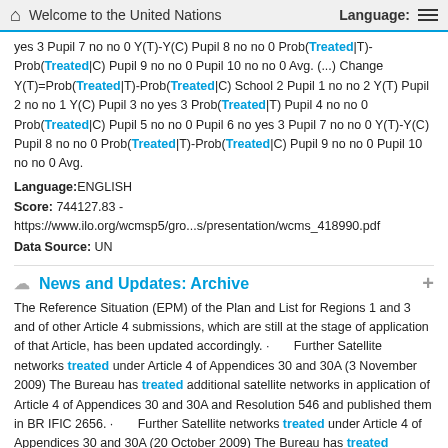Welcome to the United Nations   Language:
yes 3 Pupil 7 no no 0 Y(T)-Y(C) Pupil 8 no no 0 Prob(Treated|T)-Prob(Treated|C) Pupil 9 no no 0 Pupil 10 no no 0 Avg. (...) Change Y(T)=Prob(Treated|T)-Prob(Treated|C) School 2 Pupil 1 no no 2 Y(T) Pupil 2 no no 1 Y(C) Pupil 3 no yes 3 Prob(Treated|T) Pupil 4 no no 0 Prob(Treated|C) Pupil 5 no no 0 Pupil 6 no yes 3 Pupil 7 no no 0 Y(T)-Y(C) Pupil 8 no no 0 Prob(Treated|T)-Prob(Treated|C) Pupil 9 no no 0 Pupil 10 no no 0 Avg.
Language:ENGLISH
Score: 744127.83 - https://www.ilo.org/wcmsp5/gro...s/presentation/wcms_418990.pdf
Data Source: UN
News and Updates: Archive
The Reference Situation (EPM) of the Plan and List for Regions 1 and 3 and of other Article 4 submissions, which are still at the stage of application of that Article, has been updated accordingly. · Further Satellite networks treated under Article 4 of Appendices 30 and 30A (3 November 2009) The Bureau has treated additional satellite networks in application of Article 4 of Appendices 30 and 30A and Resolution 546 and published them in BR IFIC 2656. · Further Satellite networks treated under Article 4 of Appendices 30 and 30A (20 October 2009) The Bureau has treated additional satellite networks in application of Article 4 of Appendices 30 and 30A and Resolution 546 and published them in BR IFIC 2655. · Further Satellite networks treated under Article 4 of Appendices 30 and 30A (6